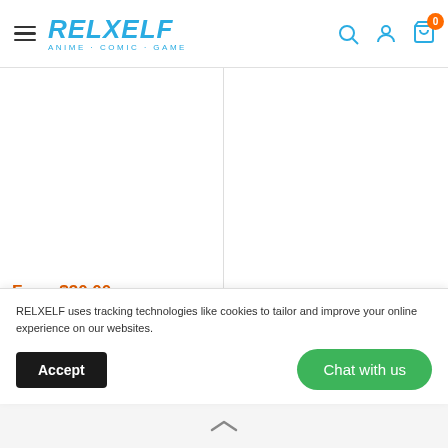RELXELF ANIME · COMIC · GAME
From $30.00
1/20 Scale World Zukan / Gyarados / Rapidash / Psyduck / Mega Swampert - Pokemon - KING Studios
From $27.00
1/20 Scale World Za... Region - Pokemon - ... DREAM [IN STOCK]
RELXELF uses tracking technologies like cookies to tailor and improve your online experience on our websites.
Accept
Chat with us